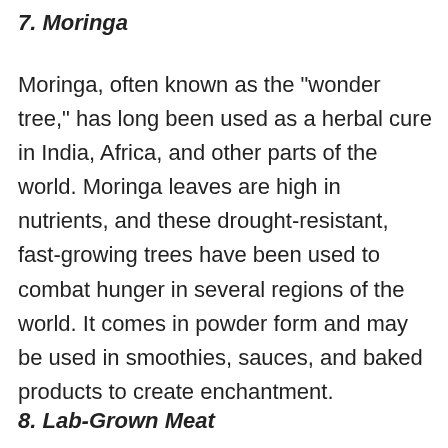7. Moringa
Moringa, often known as the "wonder tree," has long been used as a herbal cure in India, Africa, and other parts of the world. Moringa leaves are high in nutrients, and these drought-resistant, fast-growing trees have been used to combat hunger in several regions of the world. It comes in powder form and may be used in smoothies, sauces, and baked products to create enchantment.
8. Lab-Grown Meat